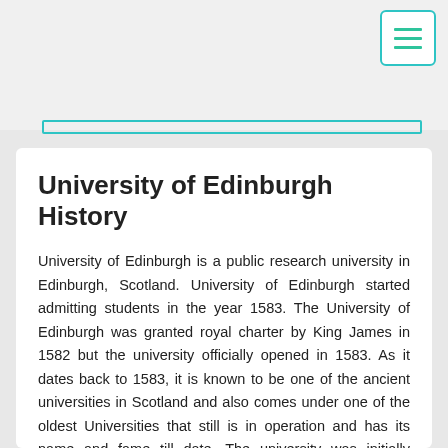[Figure (other): Top navigation bar area with a hamburger menu button (three horizontal lines) in a teal-bordered rounded square, and a teal-bordered horizontal rectangle/bar below it.]
University of Edinburgh History
University of Edinburgh is a public research university in Edinburgh, Scotland. University of Edinburgh started admitting students in the year 1583. The University of Edinburgh was granted royal charter by King James in 1582 but the university officially opened in 1583. As it dates back to 1583, it is known to be one of the ancient universities in Scotland and also comes under one of the oldest Universities that still is in operation and has its name and fame till date. The university was initially known as Tounis College and King James College until it was named the University of Edinburgh during the 17th century. It was during this time, that the University expanded its horizons by starting with various faculties like the: faculty of law, faculty of arts, faculty of medicine and so on. The 18th century was the most prominent period for the University of